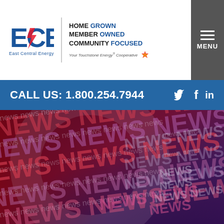[Figure (logo): ECE East Central Energy logo with bolt graphic, tagline HOME GROWN MEMBER OWNED COMMUNITY FOCUSED, Your Touchstone Energy Cooperative]
[Figure (screenshot): Grey menu button with hamburger lines and MENU label]
CALL US: 1.800.254.7944
[Figure (infographic): News background image with repeated NEWS and news text in dark red, purple, and grey tones forming a collage background]